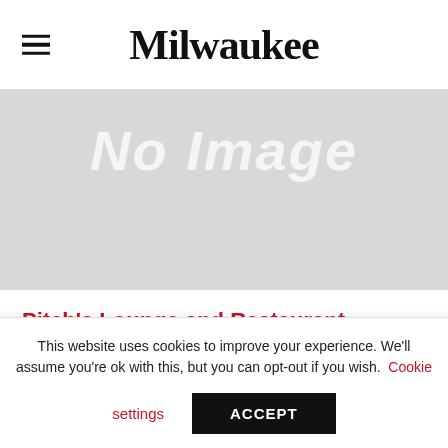Milwaukee
[Figure (other): Gray placeholder box with 'No Image' text in large light italic font]
Pitch's Lounge and Restaurant
American
This website uses cookies to improve your experience. We'll assume you're ok with this, but you can opt-out if you wish. Cookie settings ACCEPT